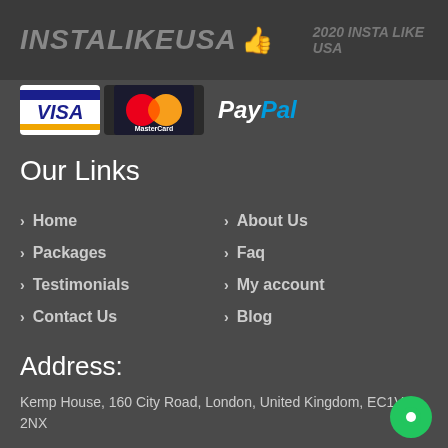INSTALIKEUSA 👍 2020 INSTA LIKE USA
[Figure (logo): Payment method logos: VISA, MasterCard, PayPal]
Our Links
Home
About Us
Packages
Faq
Testimonials
My account
Contact Us
Blog
Address:
Kemp House, 160 City Road, London, United Kingdom, EC1V 2NX
Company Number 12812295
hello.instalikeusa@gmail.com